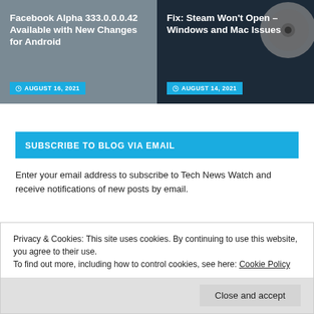Facebook Alpha 333.0.0.0.42 Available with New Changes for Android
AUGUST 16, 2021
Fix: Steam Won't Open – Windows and Mac Issues
AUGUST 14, 2021
SUBSCRIBE TO BLOG VIA EMAIL
Enter your email address to subscribe to Tech News Watch and receive notifications of new posts by email.
Privacy & Cookies: This site uses cookies. By continuing to use this website, you agree to their use.
To find out more, including how to control cookies, see here: Cookie Policy
Close and accept